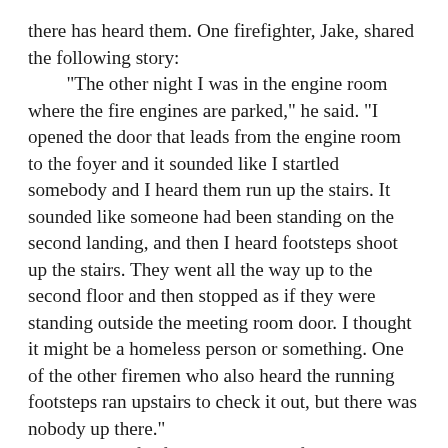there has heard them. One firefighter, Jake, shared the following story:
	"The other night I was in the engine room where the fire engines are parked," he said. "I opened the door that leads from the engine room to the foyer and it sounded like I startled somebody and I heard them run up the stairs. It sounded like someone had been standing on the second landing, and then I heard footsteps shoot up the stairs. They went all the way up to the second floor and then stopped as if they were standing outside the meeting room door. I thought it might be a homeless person or something. One of the other firemen who also heard the running footsteps ran upstairs to check it out, but there was nobody up there."
	Another firefighter, Ryan, confirmed hearing the sound of ghostly feet in the firehouse. "You'll hear footsteps going up and down the upstairs hallway all the time," he said. Ryan also talked about the sound of furniture being moved around in one of the upstairs rooms.